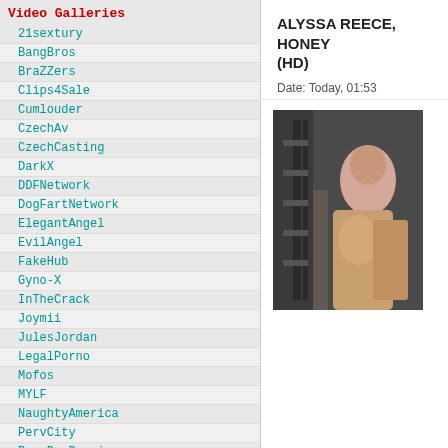Video Galleries
21sextury
BangBros
BraZZers
Clips4Sale
Cumlouder
CzechAv
CzechCasting
DarkX
DDFNetwork
DogFartNetwork
ElegantAngel
EvilAngel
FakeHub
Gyno-X
InTheCrack
Joymii
JulesJordan
LegalPorno
Mofos
MYLF
NaughtyAmerica
PervCity
PornDoePremium
RealityKings
RoccoSiffredi
SexyHub
TeamSkeet
ALYSSA REECE, HONEY (HD)
Date: Today, 01:53
[Figure (photo): Thumbnail photo of a person in a dark setting with industrial/gym equipment in background]